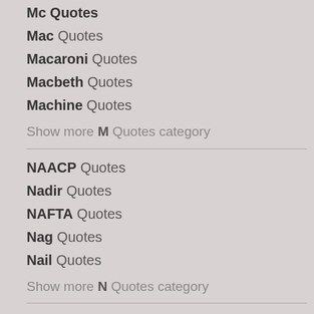Mac Quotes
Macaroni Quotes
Macbeth Quotes
Machine Quotes
Show more M Quotes category
NAACP Quotes
Nadir Quotes
NAFTA Quotes
Nag Quotes
Nail Quotes
Show more N Quotes category
Oak Quotes